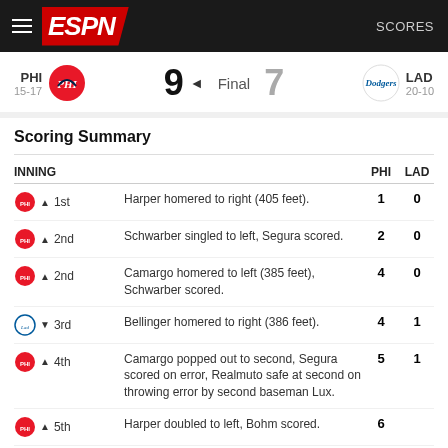ESPN — SCORES
PHI 15-17   9   Final   7   LAD 20-10
Scoring Summary
| INNING |  |  | PHI | LAD |
| --- | --- | --- | --- | --- |
| PHI ▲ 1st | Harper homered to right (405 feet). |  | 1 | 0 |
| PHI ▲ 2nd | Schwarber singled to left, Segura scored. |  | 2 | 0 |
| PHI ▲ 2nd | Camargo homered to left (385 feet), Schwarber scored. |  | 4 | 0 |
| LAD ▼ 3rd | Bellinger homered to right (386 feet). |  | 4 | 1 |
| PHI ▲ 4th | Camargo popped out to second, Segura scored on error, Realmuto safe at second on throwing error by second baseman Lux. |  | 5 | 1 |
| PHI ▲ 5th | Harper doubled to left, Bohm scored. |  | 6 |  |